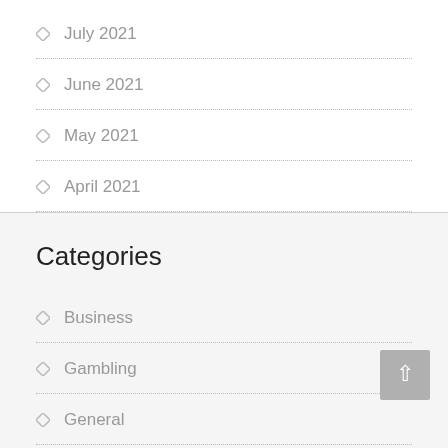July 2021
June 2021
May 2021
April 2021
Categories
Business
Gambling
General
Health